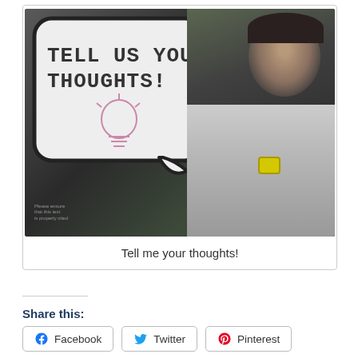[Figure (photo): Man holding a whiteboard speech bubble sign that reads 'TELL US YOUR THOUGHTS!' with a lightbulb drawing. Another person visible in background. Man wearing yellow watch and suit.]
Tell me your thoughts!
Share this:
Facebook
Twitter
Pinterest